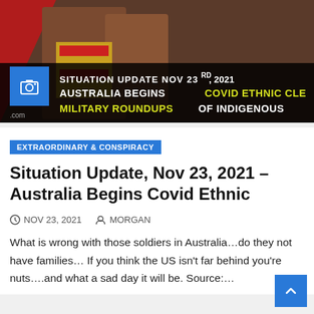[Figure (photo): Banner image showing person holding object with text overlay: SITUATION UPDATE NOV 23RD, 2021 / AUSTRALIA BEGINS COVID ETHNIC CLE... / MILITARY ROUNDUPS OF INDIGENOUS]
EXTRAORDINARY & CONSPIRACY
Situation Update, Nov 23, 2021 – Australia Begins Covid Ethnic
NOV 23, 2021   MORGAN
What is wrong with those soldiers in Australia…do they not have families… If you think the US isn't far behind you're nuts….and what a sad day it will be. Source:…